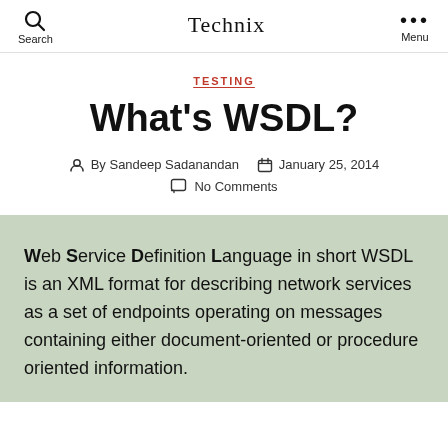Search | Technix | Menu
TESTING
What's WSDL?
By Sandeep Sadanandan   January 25, 2014
No Comments
Web Service Definition Language in short WSDL is an XML format for describing network services as a set of endpoints operating on messages containing either document-oriented or procedure oriented information.